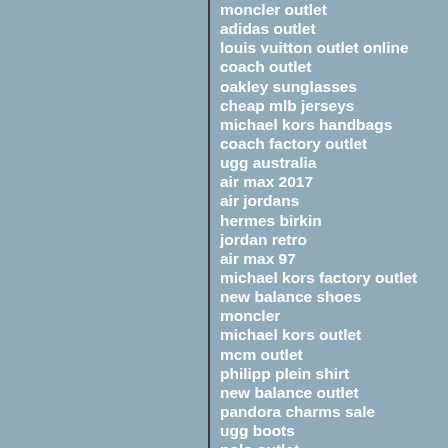moncler outlet
adidas outlet
louis vuitton outlet online
coach outlet
oakley sunglasses
cheap mlb jerseys
michael kors handbags
coach factory outlet
ugg australia
air max 2017
air jordans
hermes birkin
jordan retro
air max 97
michael kors factory outlet
new balance shoes
moncler
michael kors outlet
mcm outlet
philipp plein shirt
new balance outlet
pandora charms sale
ugg boots
polo outlet
cat boots
coach factorty outlet
michael kors outlet
ugg boots